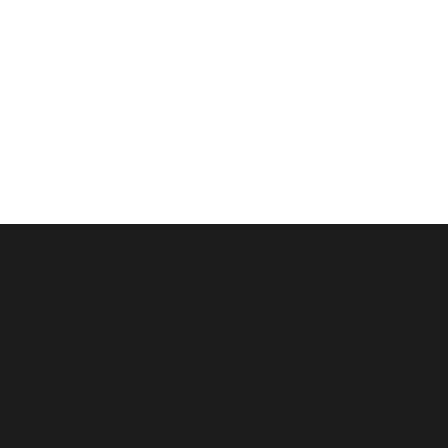Syndicate
[Figure (logo): RSS feed icon — orange rounded square with white RSS signal lines]
Powered by Drupal